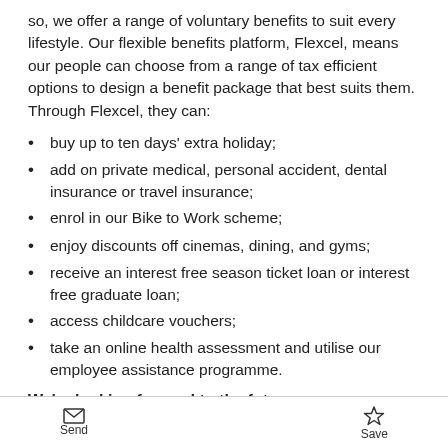so, we offer a range of voluntary benefits to suit every lifestyle. Our flexible benefits platform, Flexcel, means our people can choose from a range of tax efficient options to design a benefit package that best suits them. Through Flexcel, they can:
buy up to ten days' extra holiday;
add on private medical, personal accident, dental insurance or travel insurance;
enrol in our Bike to Work scheme;
enjoy discounts off cinemas, dining, and gyms;
receive an interest free season ticket loan or interest free graduate loan;
access childcare vouchers;
take an online health assessment and utilise our employee assistance programme.
We're looking forward to the future
Send | Save